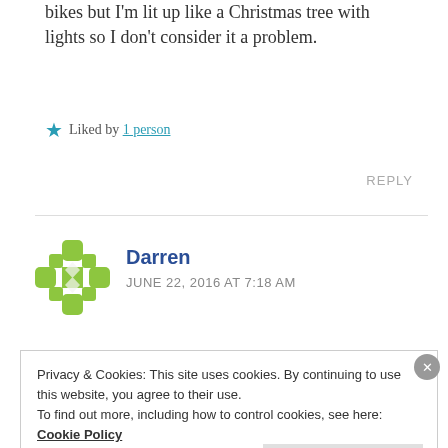bikes but I'm lit up like a Christmas tree with lights so I don't consider it a problem.
Liked by 1 person
REPLY
Darren
JUNE 22, 2016 AT 7:18 AM
Privacy & Cookies: This site uses cookies. By continuing to use this website, you agree to their use.
To find out more, including how to control cookies, see here: Cookie Policy